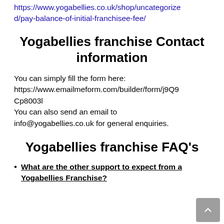https://www.yogabellies.co.uk/shop/uncategorized/pay-balance-of-initial-franchisee-fee/
Yogabellies franchise Contact information
You can simply fill the form here: https://www.emailmeform.com/builder/form/j9Q9Cp8003l
You can also send an email to info@yogabellies.co.uk for general enquiries.
Yogabellies franchise FAQ's
What are the other support to expect from a Yogabellies Franchise?